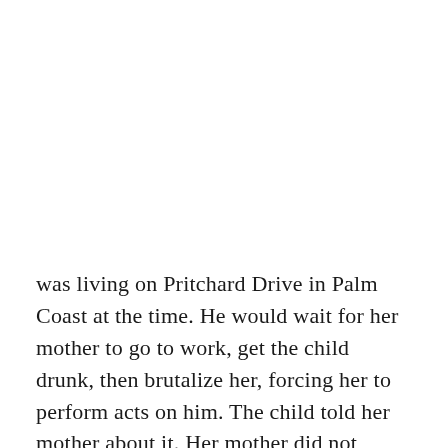was living on Pritchard Drive in Palm Coast at the time. He would wait for her mother to go to work, get the child drunk, then brutalize her, forcing her to perform acts on him. The child told her mother about it. Her mother did not report it. The child, by then an adult, reported it in 2015. The State Attorney's Office almost